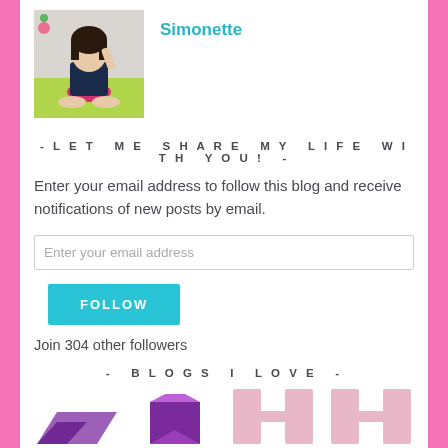[Figure (photo): Profile photo of a young woman sitting cross-legged on a green mat, wearing a dark top and pink shorts]
Simonette
- LET ME SHARE MY LIFE WITH YOU! -
Enter your email address to follow this blog and receive notifications of new posts by email.
Enter your email address
FOLLOW
Join 304 other followers
- BLOGS I LOVE -
[Figure (logo): Partial logos of three blogs at the bottom of the page]